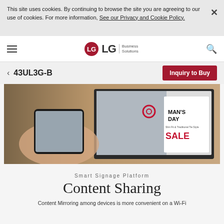This site uses cookies. By continuing to browse the site you are agreeing to our use of cookies. For more information, See our Privacy and Cookie Policy.
LG Business Solutions — 43UL3G-B
[Figure (screenshot): A hand holding a smartphone displaying a man's day sale advertisement next to a large display screen showing a man in a suit]
Smart Signage Platform
Content Sharing
Content Mirroring among devices is more convenient on a Wi-Fi